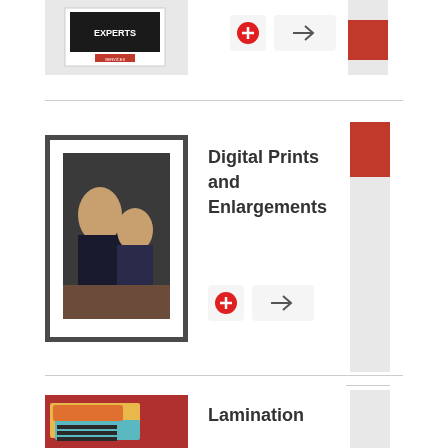[Figure (photo): Partially visible product image at top of page - appears to show a 'EXPERTS' branded item on a laptop/display]
[Figure (other): Red plus button and right arrow button group]
[Figure (photo): Framed photo print showing two people, displayed in a white mat frame]
Digital Prints and Enlargements
[Figure (other): Red plus button and right arrow button group]
[Figure (photo): Lamination product samples - colorful laminated cards/documents on a red surface]
Lamination
[Figure (other): Red plus button and right arrow button group]
[Figure (photo): Partially visible product at bottom of page - folded item]